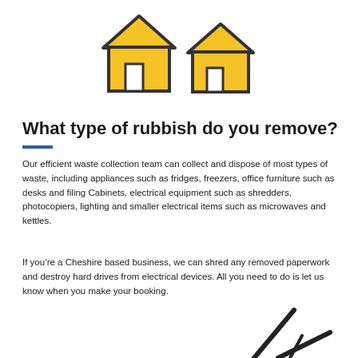[Figure (illustration): Two yellow house icons side by side, outlined in dark stroke, with square door cutouts]
What type of rubbish do you remove?
Our efficient waste collection team can collect and dispose of most types of waste, including appliances such as fridges, freezers, office furniture such as desks and filing Cabinets, electrical equipment such as shredders, photocopiers, lighting and smaller electrical items such as microwaves and kettles.
If you’re a Cheshire based business, we can shred any removed paperwork and destroy hard drives from electrical devices. All you need to do is let us know when you make your booking.
[Figure (illustration): Partial hand/arrow icon visible at bottom right corner]